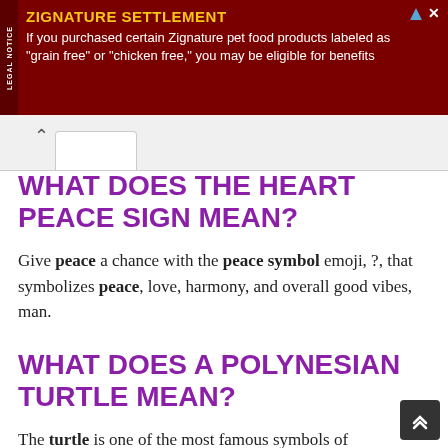[Figure (screenshot): Advertisement banner for Zignature Settlement legal notice. Dark red background with yellow title 'ZIGNATURE SETTLEMENT' and white body text: 'If you purchased certain Zignature pet food products labeled as "grain free" or "chicken free," you may be eligible for benefits'. Vertical 'LEGAL NOTICE' label on left side.]
WHAT DOES THE HEART PEACE SIGN MEAN?
Give peace a chance with the peace symbol emoji, ?, that symbolizes peace, love, harmony, and overall good vibes, man.
WHAT DOES A POLYNESIAN TURTLE MEAN?
The turtle is one of the most famous symbols of Polynesian tattoo designs. The reflect immortality and equanimity in life. They thus,